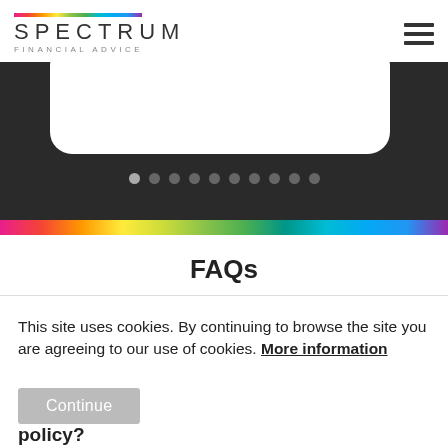[Figure (logo): Spectrum Financial Advice logo with rainbow gradient bar above text]
[Figure (screenshot): Dark background section with white rounded card (partially visible) and pagination dots (10 dots) at the bottom]
[Figure (infographic): Horizontal rainbow gradient bar (magenta to cyan)]
FAQs
This site uses cookies. By continuing to browse the site you are agreeing to our use of cookies. More information
Continue
policy?